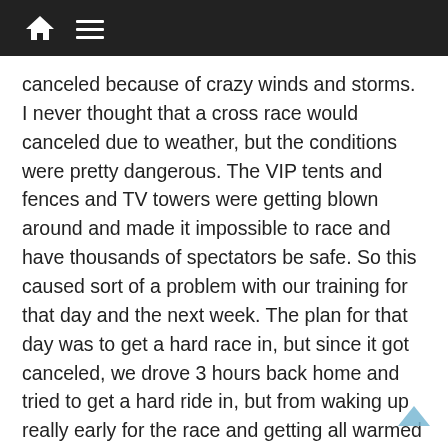[home icon] [menu icon]
canceled because of crazy winds and storms. I never thought that a cross race would canceled due to weather, but the conditions were pretty dangerous. The VIP tents and fences and TV towers were getting blown around and made it impossible to race and have thousands of spectators be safe. So this caused sort of a problem with our training for that day and the next week. The plan for that day was to get a hard race in, but since it got canceled, we drove 3 hours back home and tried to get a hard ride in, but from waking up really early for the race and getting all warmed up and then having a 3 hour car ride back home, I was very tired and didn't feel good. On Monday, we did a photoshoot for USA Cycling, and that was fun to do. I'd never done a real photoshoot like that and it was